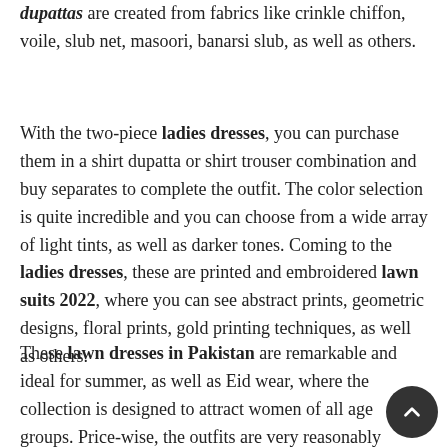dupattas are created from fabrics like crinkle chiffon, voile, slub net, masoori, banarsi slub, as well as others.
With the two-piece ladies dresses, you can purchase them in a shirt dupatta or shirt trouser combination and buy separates to complete the outfit. The color selection is quite incredible and you can choose from a wide array of light tints, as well as darker tones. Coming to the ladies dresses, these are printed and embroidered lawn suits 2022, where you can see abstract prints, geometric designs, floral prints, gold printing techniques, as well as others.
These lawn dresses in Pakistan are remarkable and ideal for summer, as well as Eid wear, where the collection is designed to attract women of all age groups. Price-wise, the outfits are very reasonably